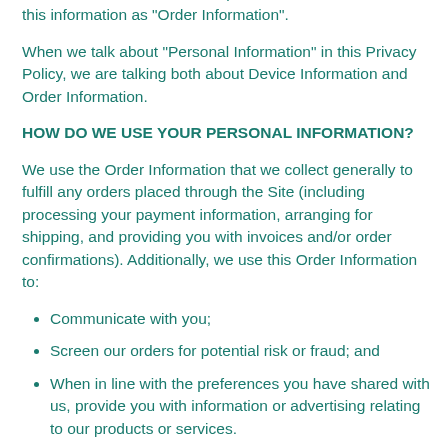numbers, email address, and phone number. We refer to this information as “Order Information”.
When we talk about “Personal Information” in this Privacy Policy, we are talking both about Device Information and Order Information.
HOW DO WE USE YOUR PERSONAL INFORMATION?
We use the Order Information that we collect generally to fulfill any orders placed through the Site (including processing your payment information, arranging for shipping, and providing you with invoices and/or order confirmations). Additionally, we use this Order Information to:
Communicate with you;
Screen our orders for potential risk or fraud; and
When in line with the preferences you have shared with us, provide you with information or advertising relating to our products or services.